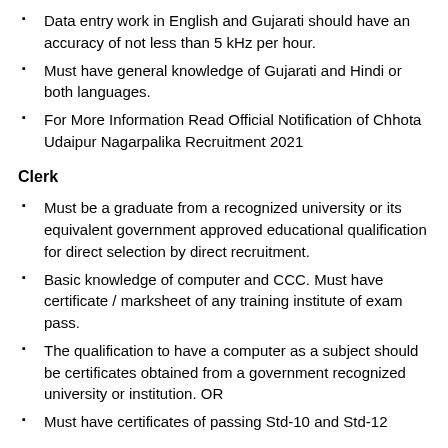Data entry work in English and Gujarati should have an accuracy of not less than 5 kHz per hour.
Must have general knowledge of Gujarati and Hindi or both languages.
For More Information Read Official Notification of Chhota Udaipur Nagarpalika Recruitment 2021
Clerk
Must be a graduate from a recognized university or its equivalent government approved educational qualification for direct selection by direct recruitment.
Basic knowledge of computer and CCC. Must have certificate / marksheet of any training institute of exam pass.
The qualification to have a computer as a subject should be certificates obtained from a government recognized university or institution. OR
Must have certificates of passing Std-10 and Std-12